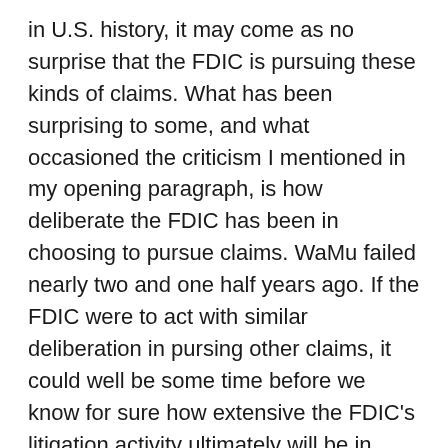in U.S. history, it may come as no surprise that the FDIC is pursuing these kinds of claims. What has been surprising to some, and what occasioned the criticism I mentioned in my opening paragraph, is how deliberate the FDIC has been in choosing to pursue claims. WaMu failed nearly two and one half years ago. If the FDIC were to act with similar deliberation in pursing other claims, it could well be some time before we know for sure how extensive the FDIC's litigation activity ultimately will be in pursing claims as part of the current bank failure.
It is, however, quite clear that the FDIC will be pursuing more of these types of claims. The FDIC recently updated the Professional Liability Lawsuits page on its website (here) to show that the FDIC's board has